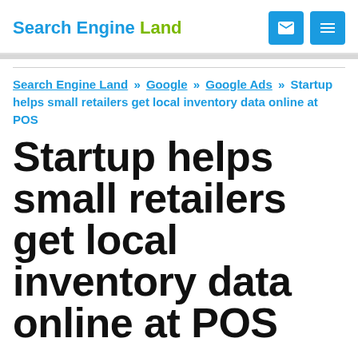Search Engine Land
Search Engine Land » Google » Google Ads » Startup helps small retailers get local inventory data online at POS
Startup helps small retailers get local inventory data online at POS
Pointy offers a way to gain more SEO